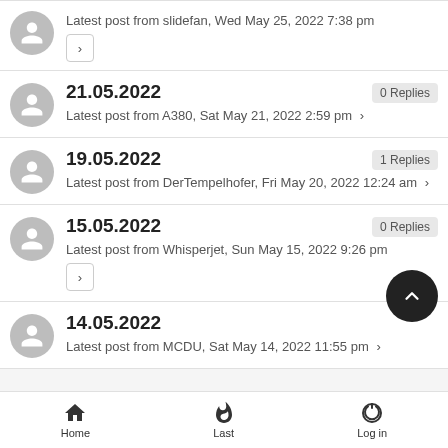Latest post from slidefan, Wed May 25, 2022 7:38 pm
21.05.2022 — 0 Replies
Latest post from A380, Sat May 21, 2022 2:59 pm
19.05.2022 — 1 Replies
Latest post from DerTempelhofer, Fri May 20, 2022 12:24 am
15.05.2022 — 0 Replies
Latest post from Whisperjet, Sun May 15, 2022 9:26 pm
14.05.2022 — 1 Replies
Latest post from MCDU, Sat May 14, 2022 11:55 pm
Home    Last    Log in